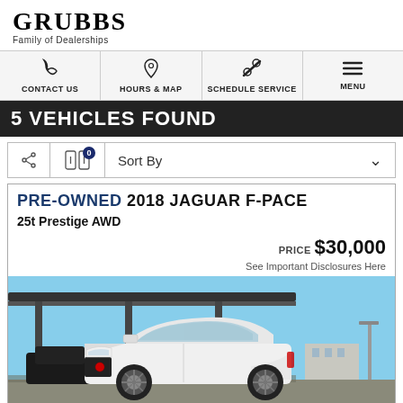[Figure (logo): GRUBBS Family of Dealerships logo]
CONTACT US | HOURS & MAP | SCHEDULE SERVICE | MENU
5 VEHICLES FOUND
Sort By
PRE-OWNED 2018 JAGUAR F-PACE 25t Prestige AWD
PRICE $30,000
See Important Disclosures Here
[Figure (photo): White 2018 Jaguar F-PACE SUV parked in a dealership lot under a canopy, blue sky background]